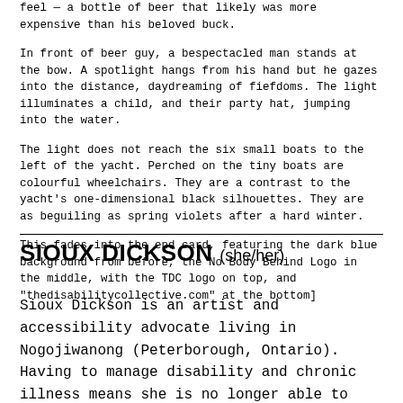feel — a bottle of beer that likely was more expensive than his beloved buck.
In front of beer guy, a bespectacled man stands at the bow. A spotlight hangs from his hand but he gazes into the distance, daydreaming of fiefdoms. The light illuminates a child, and their party hat, jumping into the water.
The light does not reach the six small boats to the left of the yacht. Perched on the tiny boats are colourful wheelchairs. They are a contrast to the yacht's one-dimensional black silhouettes. They are as beguiling as spring violets after a hard winter.
This fades into the end card, featuring the dark blue background from before, the No Body Behind Logo in the middle, with the TDC logo on top, and "thedisabilitycollective.com" at the bottom]
SIOUX DICKSON (she/her)
Sioux Dickson is an artist and accessibility advocate living in Nogojiwanong (Peterborough, Ontario). Having to manage disability and chronic illness means she is no longer able to participate in public spaces as in the before times. Now she lives in virtual